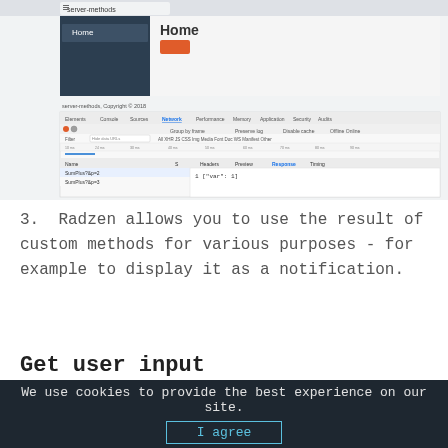[Figure (screenshot): Browser screenshot showing a Radzen server-methods application with Chrome DevTools Network panel open, showing a Response tab with JSON array result ['var': 1]. The top portion shows a web app with Home navigation and an orange button.]
3. Radzen allows you to use the result of custom methods for various purposes - for example to display it as a notification.
Get user input
We use cookies to provide the best experience on our site.
I agree